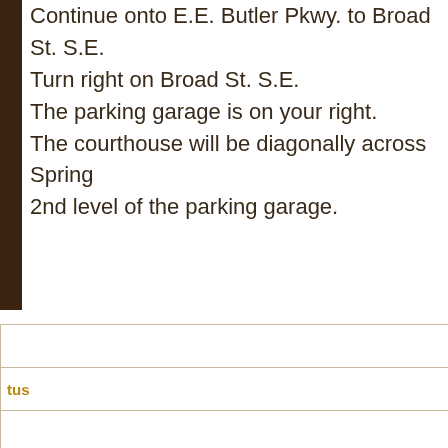Continue onto E.E. Butler Pkwy. to Broad St. S.E. Turn right on Broad St. S.E. The parking garage is on your right. The courthouse will be diagonally across Spring... 2nd level of the parking garage.
|  |
| tus |
|  |
|  |
|  |
|  |
|  |
|  |
|  |